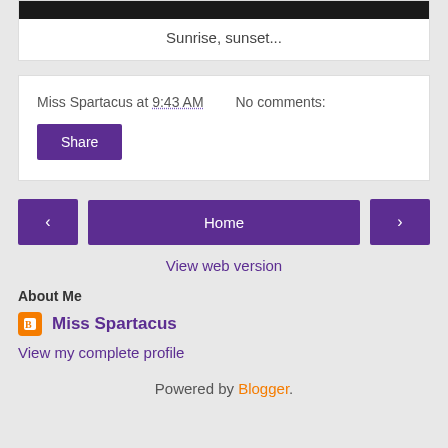[Figure (photo): Dark photo shown as a thin bar at the top of a blog post card]
Sunrise, sunset...
Miss Spartacus at 9:43 AM    No comments:
Share
‹   Home   ›
View web version
About Me
Miss Spartacus
View my complete profile
Powered by Blogger.